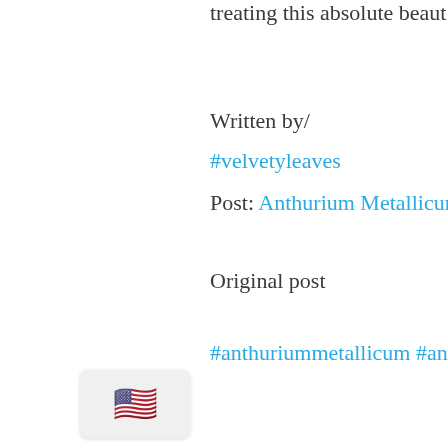treating this absolute beaut 🌿
Written by/
#velvetyleaves
Post: Anthurium Metallicum
Original post
#anthuriummetallicum #anthuriumlover #p
•
[Figure (illustration): US flag emoji inside a rounded rectangle box at the bottom left]